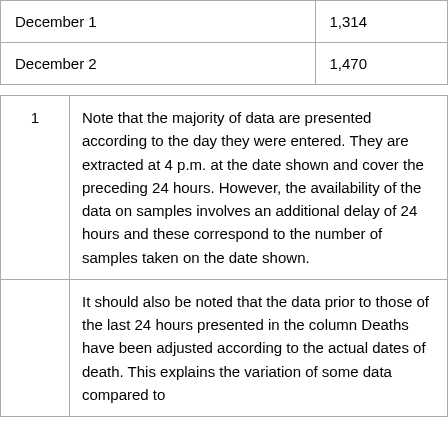| Date | Value |
| --- | --- |
| December 1 | 1,314 |
| December 2 | 1,470 |
| Note # | Note text |
| --- | --- |
| 1 | Note that the majority of data are presented according to the day they were entered. They are extracted at 4 p.m. at the date shown and cover the preceding 24 hours. However, the availability of the data on samples involves an additional delay of 24 hours and these correspond to the number of samples taken on the date shown. |
|  | It should also be noted that the data prior to those of the last 24 hours presented in the column Deaths have been adjusted according to the actual dates of death. This explains the variation of some data compared to |